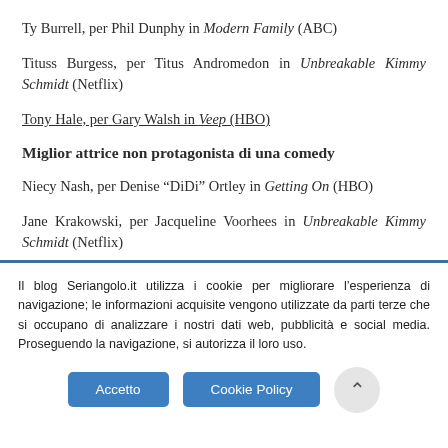Ty Burrell, per Phil Dunphy in Modern Family (ABC)
Tituss Burgess, per Titus Andromedon in Unbreakable Kimmy Schmidt (Netflix)
Tony Hale, per Gary Walsh in Veep (HBO)
Miglior attrice non protagonista di una comedy
Niecy Nash, per Denise “DiDi” Ortley in Getting On (HBO)
Jane Krakowski, per Jacqueline Voorhees in Unbreakable Kimmy Schmidt (Netflix)
Julia Bowen, per Claire Dunphy in Modern Family (ABC)
Il blog Seriangolo.it utilizza i cookie per migliorare l’esperienza di navigazione; le informazioni acquisite vengono utilizzate da parti terze che si occupano di analizzare i nostri dati web, pubblicità e social media. Proseguendo la navigazione, si autorizza il loro uso.